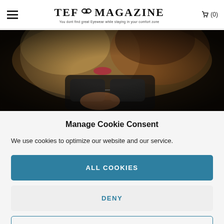TEF MAGAZINE — You dont find great Eyewear while staying in your comfort zone
[Figure (photo): Close-up photo of a woman with blonde hair and red lips holding dark sunglasses]
Manage Cookie Consent
We use cookies to optimize our website and our service.
ALL COOKIES
DENY
VIEW PREFERENCES